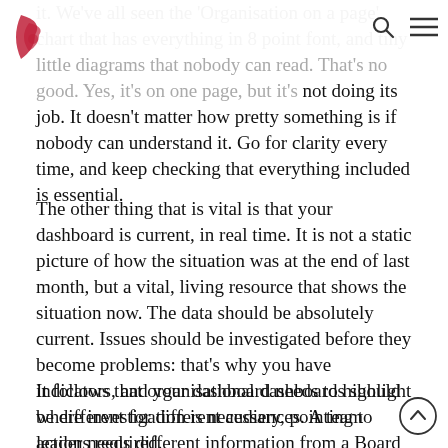[Logo and navigation icons]
it. We've all seen the 'Organisation on a page' chart that has everything in 8 point font, and tiny little diagrams that nobody can read. That's no good. Yes, it's on one page, but it's not doing its job. It doesn't matter how pretty something is if nobody can understand it. Go for clarity every time, and keep checking that everything included is essential.
The other thing that is vital is that your dashboard is current, in real time. It is not a static picture of how the situation was at the end of last month, but a vital, living resource that shows the situation now. The data should be absolutely current. Issues should be investigated before they become problems: that's why you have indicators, and your dashboard needs to highlight where investigation is necessary, pointing to actions required.
It follows that organisational dashboards should be different for different audiences. A team leader needs different information from a Board member, but to do their job...